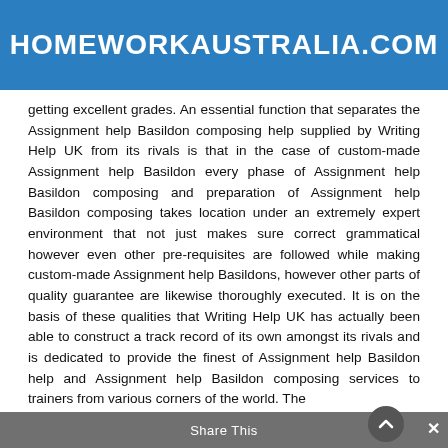HOMEWORKAUSTRALIA.COM
getting excellent grades. An essential function that separates the Assignment help Basildon composing help supplied by Writing Help UK from its rivals is that in the case of custom-made Assignment help Basildon every phase of Assignment help Basildon composing and preparation of Assignment help Basildon composing takes location under an extremely expert environment that not just makes sure correct grammatical however even other pre-requisites are followed while making custom-made Assignment help Basildons, however other parts of quality guarantee are likewise thoroughly executed. It is on the basis of these qualities that Writing Help UK has actually been able to construct a track record of its own amongst its rivals and is dedicated to provide the finest of Assignment help Basildon help and Assignment help Basildon composing services to trainers from various corners of the world. The
Share This